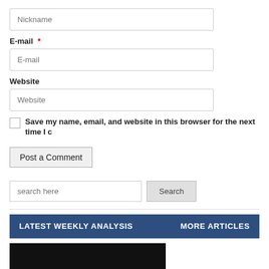Nickname (input field)
E-mail *
E-mail (input field)
Website
Website (input field)
Save my name, email, and website in this browser for the next time I c
Post a Comment
search here (search input)
Search (button)
LATEST WEEKLY ANALYSIS | MORE ARTICLES
[Figure (photo): Dark/black image placeholder at the bottom of the page]